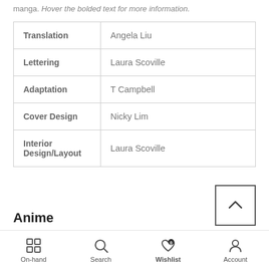manga. Hover the bolded text for more information.
| Translation | Angela Liu |
| Lettering | Laura Scoville |
| Adaptation | T Campbell |
| Cover Design | Nicky Lim |
| Interior Design/Layout | Laura Scoville |
Anime
On-hand  Search  Wishlist  Account